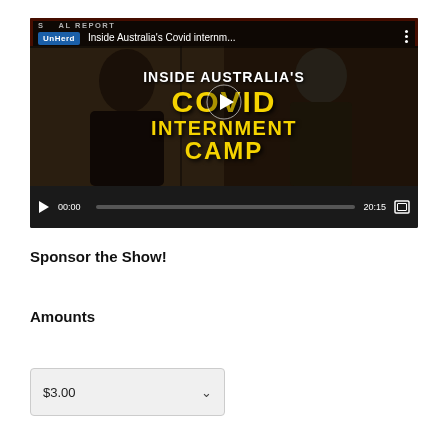[Figure (screenshot): YouTube-style video player showing 'Inside Australia's Covid Internment Camp' by UnHerd. Thumbnail shows two people with bold yellow text overlay. Controls show 00:00 / 20:15.]
Sponsor the Show!
Amounts
$3.00